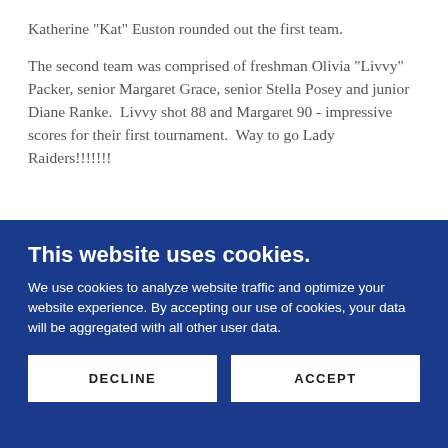Katherine "Kat" Euston rounded out the first team.
The second team was comprised of freshman Olivia "Livvy" Packer, senior Margaret Grace, senior Stella Posey and junior Diane Ranke.  Livvy shot 88 and Margaret 90 - impressive scores for their first tournament.  Way to go Lady Raiders!!!!!!!
This website uses cookies.
We use cookies to analyze website traffic and optimize your website experience. By accepting our use of cookies, your data will be aggregated with all other user data.
DECLINE
ACCEPT